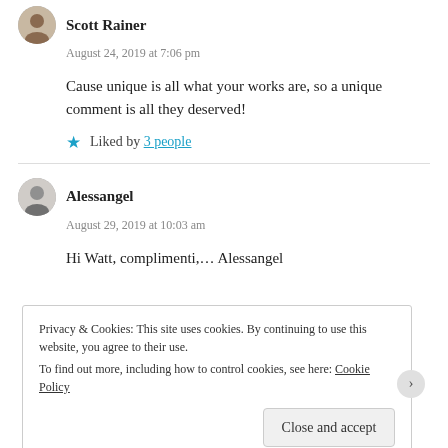Scott Rainer
August 24, 2019 at 7:06 pm
Cause unique is all what your works are, so a unique comment is all they deserved!
★ Liked by 3 people
Alessangel
August 29, 2019 at 10:03 am
Hi Watt, complimenti,… Alessangel
Privacy & Cookies: This site uses cookies. By continuing to use this website, you agree to their use. To find out more, including how to control cookies, see here: Cookie Policy
Close and accept